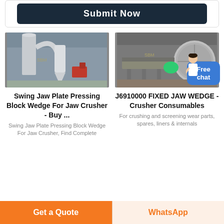[Figure (screenshot): Submit Now button on dark navy background inside a bordered card]
[Figure (photo): Industrial grinding/milling machinery in a warehouse setting]
Swing Jaw Plate Pressing Block Wedge For Jaw Crusher - Buy ...
Swing Jaw Plate Pressing Block Wedge For Jaw Crusher, Find Complete
[Figure (photo): Large industrial ball mill or rotary drum in a factory]
J6910000 FIXED JAW WEDGE - Crusher Consumables
For crushing and screening wear parts, spares, liners & internals
Get a Quote
WhatsApp